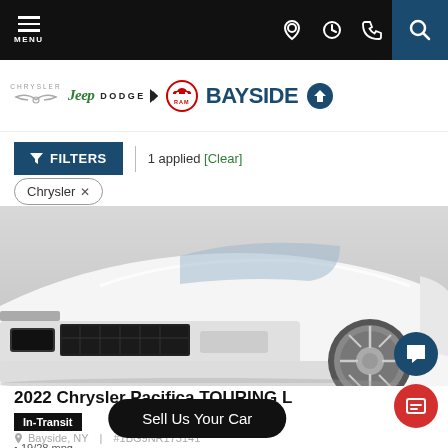MENU | navigation icons
[Figure (logo): Chrysler, Jeep, Dodge, RAM, and BAYSIDE dealership logos]
FILTERS | 1 applied [Clear]
Chrysler ×
[Figure (photo): Front view of a white 2022 Chrysler Pacifica minivan showing the grille, front bumper, and wheel]
2022 Chrysler Pacifica TOURING L
In-Transit
Bayside, NY | #1BG9NR173141
Sell Us Your Car
19/28 mpg